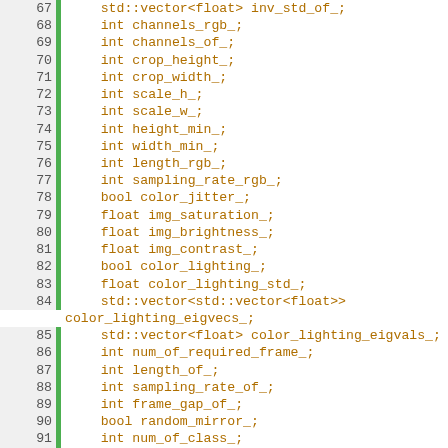Code listing lines 67-100 showing C++ class member variable declarations including std::vector<float>, int, bool, float types for image processing parameters.